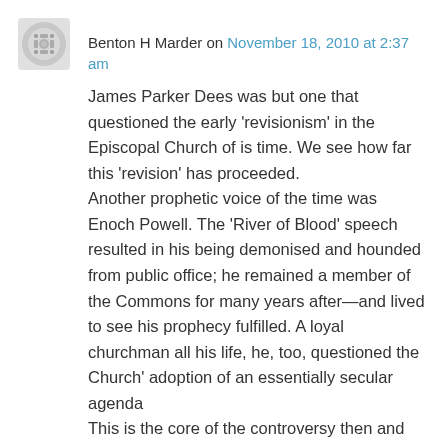Benton H Marder on November 18, 2010 at 2:37 am
James Parker Dees was but one that questioned the early ‘revisionism’ in the Episcopal Church of is time. We see how far this ‘revision’ has proceeded.
Another prophetic voice of the time was Enoch Powell. The ‘River of Blood’ speech resulted in his being demonised and hounded from public office; he remained a member of the Commons for many years after—and lived to see his prophecy fulfilled. A loyal churchman all his life, he, too, questioned the Church’ adoption of an essentially secular agenda
This is the core of the controversy then and now: does the Church follow Christ if she follows a